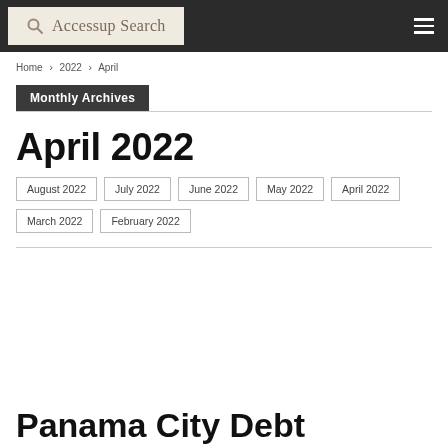Accessup Search
Home > 2022 > April
Monthly Archives
April 2022
August 2022
July 2022
June 2022
May 2022
April 2022
March 2022
February 2022
Panama City Debt